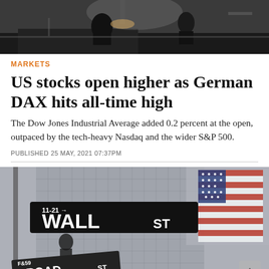[Figure (photo): Dark indoor scene with people at a counter or desk, blurred background, dimly lit]
MARKETS
US stocks open higher as German DAX hits all-time high
The Dow Jones Industrial Average added 0.2 percent at the open, outpaced by the tech-heavy Nasdaq and the wider S&P 500.
PUBLISHED 25 MAY, 2021 07:37PM
[Figure (photo): Wall Street and Broad Street signs in New York City with American flag in background, blurred city buildings]